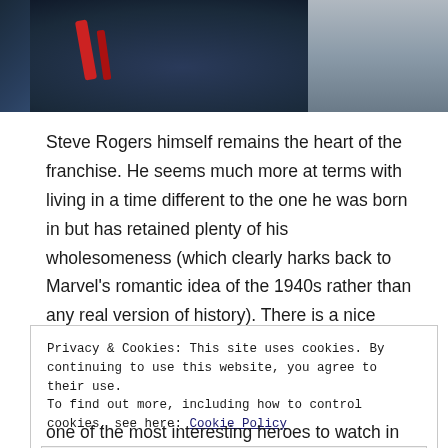[Figure (photo): Cropped photo of Captain America / Steve Rogers in blue armor suit with red stripes, battle scene in background]
Steve Rogers himself remains the heart of the franchise. He seems much more at terms with living in a time different to the one he was born in but has retained plenty of his wholesomeness (which clearly harks back to Marvel's romantic idea of the 1940s rather than any real version of history). There is a nice running joke about this in the film which doesn't get tired.
Privacy & Cookies: This site uses cookies. By continuing to use this website, you agree to their use.
To find out more, including how to control cookies, see here: Cookie Policy
Close and accept
one of the most interesting heroes to watch in battle.